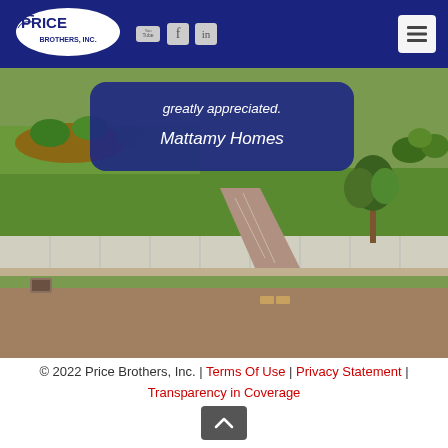[Figure (logo): Price Brothers, Inc. logo — white oval with PRICE BROTHERS, INC. text inside, on dark blue navigation bar with YouTube, Facebook, LinkedIn social icons and a hamburger menu button]
[Figure (photo): Aerial view of a residential lawn with green grass, sidewalk, brick paver pathway, trees and landscaping. Shows a suburban street scene with curb, storm drain, and ornamental plantings.]
greatly appreciated.

Mattamy Homes
© 2022 Price Brothers, Inc. | Terms Of Use | Privacy Statement | Transparency in Coverage